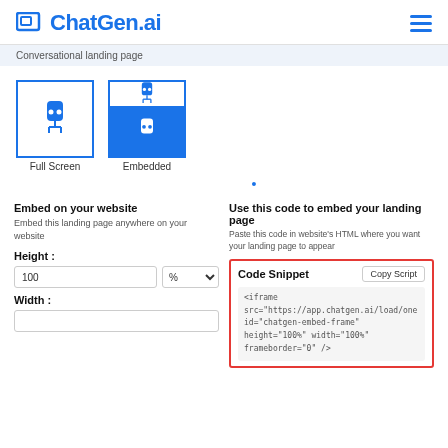ChatGen.ai
Conversational landing page
[Figure (illustration): Two chatbot embed mode options: Full Screen (white background with blue bot icon) and Embedded (blue background with bot icon in top section)]
Full Screen    Embedded
Embed on your website
Embed this landing page anywhere on your website
Height :
100   %
Width :
Use this code to embed your landing page
Paste this code in website's HTML where you want your landing page to appear
Code Snippet
Copy Script
<iframe src="https://app.chatgen.ai/load/one id="chatgen-embed-frame" height="100%" width="100%" frameborder="0" />